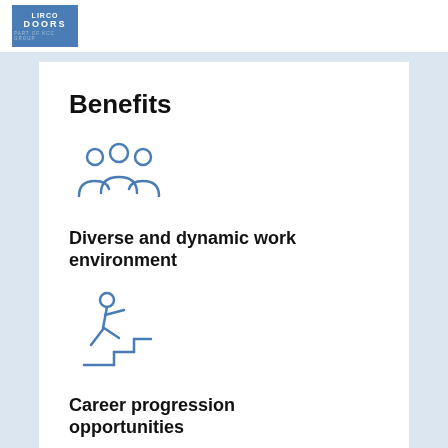LIRCO DOORS PART OF KCC GROUP
Benefits
[Figure (illustration): Blue outline icon of three people/team members grouped together]
Diverse and dynamic work environment
[Figure (illustration): Blue outline icon of a person climbing stairs/steps]
Career progression opportunities